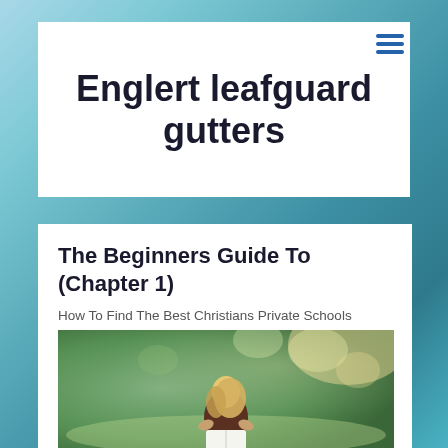Englert leafguard gutters
The Beginners Guide To (Chapter 1)
How To Find The Best Christians Private Schools
[Figure (photo): A young woman with blonde hair sitting outdoors reading a book, with blurred green trees and warm sunlight in the background.]